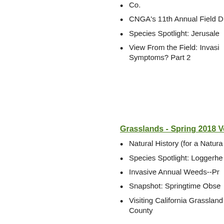Co.
CNGA's 11th Annual Field D
Species Spotlight: Jerusale
View From the Field: Invasi Symptoms? Part 2
Grasslands - Spring 2018 Vo
Natural History (for a Natura
Species Spotlight: Loggerhe
Invasive Annual Weeds--Pr
Snapshot: Springtime Obse
Visiting California Grassland County